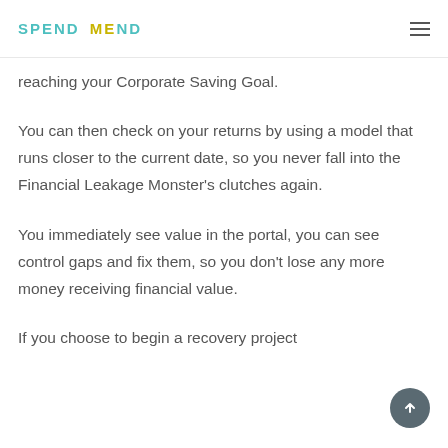SPEND MEND
reaching your Corporate Saving Goal.
You can then check on your returns by using a model that runs closer to the current date, so you never fall into the Financial Leakage Monster’s clutches again.
You immediately see value in the portal, you can see control gaps and fix them, so you don’t lose any more money receiving financial value.
If you choose to begin a recovery project